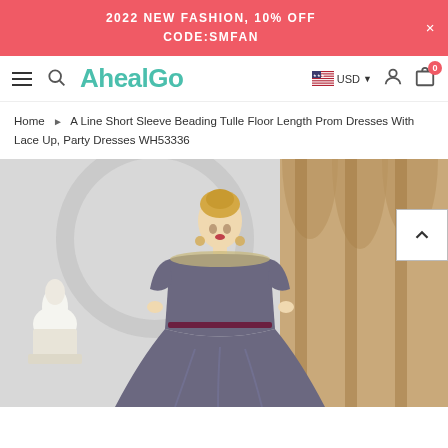2022 NEW FASHION, 10% OFF
CODE:SMFAN
[Figure (screenshot): AhealGo website navigation bar with hamburger menu, search icon, logo, USD currency selector with US flag, user icon, and cart icon with badge showing 0]
Home ▶ A Line Short Sleeve Beading Tulle Floor Length Prom Dresses With Lace Up, Party Dresses WH53336
[Figure (photo): A woman wearing a grey off-shoulder short sleeve beading tulle floor length prom dress with lace-up back, standing in front of a classical architectural background. A white sculpture bust is visible on the left. A back-to-top arrow button is overlaid on the right side.]